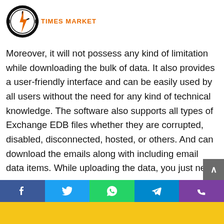TIMES MARKET
is a professional tool that allows users to download the bulk Cuml... in a local PST to store them easily for future purp...
Moreover, it will not possess any kind of limitation while downloading the bulk of data. It also provides a user-friendly interface and can be easily used by all users without the need for any kind of technical knowledge. The software also supports all types of Exchange EDB files whether they are corrupted, disabled, disconnected, hosted, or others. And can download the emails along with including email data items. While uploading the data, you just need to browse the path where the data has been stored and you can easily see the active directory files and upload them directly to the system folder. There is also a filter option that allows users to carry out the needed data using different intents such as by using a particular focus keyword. Date Range Filter allows you to carry
Facebook Twitter WhatsApp Telegram Phone